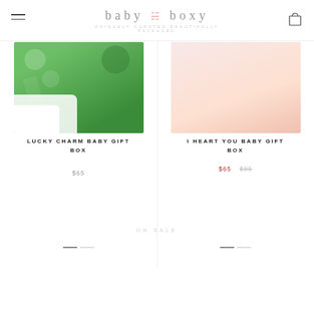baby boxy — UNIQUELY CURATED BEAUTIFULLY PACKAGED
[Figure (photo): Lucky Charm Baby Gift Box product image showing green shamrock fabric]
LUCKY CHARM BABY GIFT BOX
$65
[Figure (photo): I Heart You Baby Gift Box product image area]
I HEART YOU BABY GIFT BOX
$65  $85
ON SALE